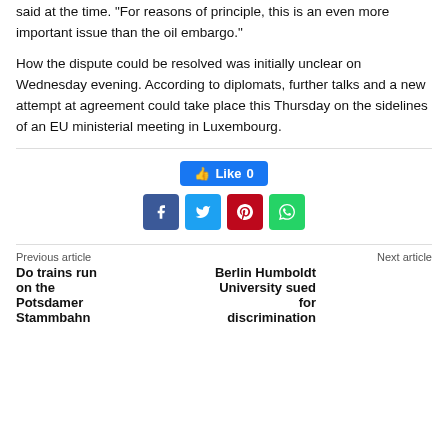said at the time. “For reasons of principle, this is an even more important issue than the oil embargo.”
How the dispute could be resolved was initially unclear on Wednesday evening. According to diplomats, further talks and a new attempt at agreement could take place this Thursday on the sidelines of an EU ministerial meeting in Luxembourg.
[Figure (infographic): Facebook Like button showing count 0, and four social share icon buttons: Facebook (blue), Twitter (light blue), Pinterest (red), WhatsApp (green)]
Previous article
Do trains run on the Potsdamer Stammbahn
Next article
Berlin Humboldt University sued for discrimination